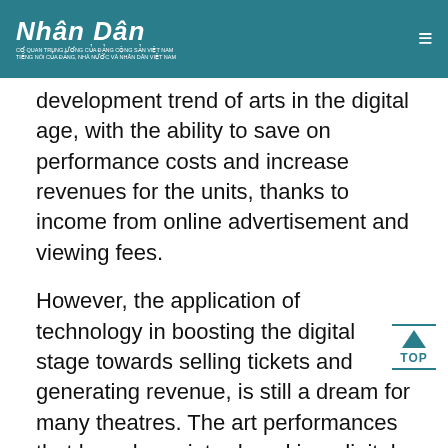Nhân Dân
development trend of arts in the digital age, with the ability to save on performance costs and increase revenues for the units, thanks to income from online advertisement and viewing fees.
However, the application of technology in boosting the digital stage towards selling tickets and generating revenue, is still a dream for many theatres. The art performances that have been introduced in a digital environment, were not attractive enough to collect money from the online audiences. Therefore, it is crucial to make serious investments into technology,